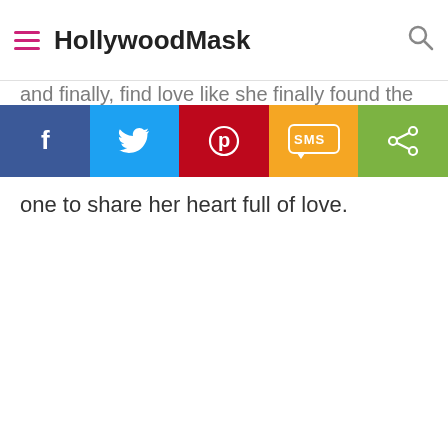HollywoodMask
[Figure (screenshot): Social share bar with Facebook, Twitter, Pinterest, SMS, and share buttons]
one to share her heart full of love.